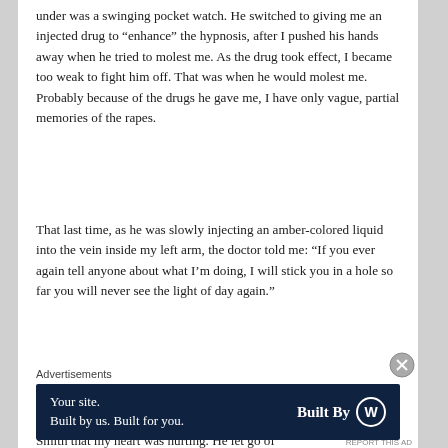under was a swinging pocket watch. He switched to giving me an injected drug to “enhance” the hypnosis, after I pushed his hands away when he tried to molest me. As the drug took effect, I became too weak to fight him off. That was when he would molest me. Probably because of the drugs he gave me, I have only vague, partial memories of the rapes.
That last time, as he was slowly injecting an amber-colored liquid into the vein inside my left arm, the doctor told me: “If you ever again tell anyone about what I’m doing, I will stick you in a hole so far you will never see the light of day again.”
Suddenly my chest hurt. I mean, it really HURT! I felt like a giant hand was squeezing my heart. I clutched at my chest and told Dr. Smith that my heart was hurting. He let go of
Advertisements
[Figure (other): WordPress advertisement banner with dark navy background. Left side reads 'Your site. Built by us. Built for you.' Right side reads 'Built By' with WordPress logo circle.]